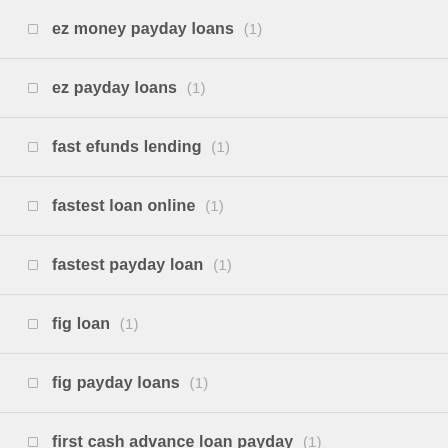ez money payday loans (1)
ez payday loans (1)
fast efunds lending (1)
fastest loan online (1)
fastest payday loan (1)
fig loan (1)
fig payday loans (1)
first cash advance loan payday (1)
first cash advance payday (1)
first day loan near me (2)